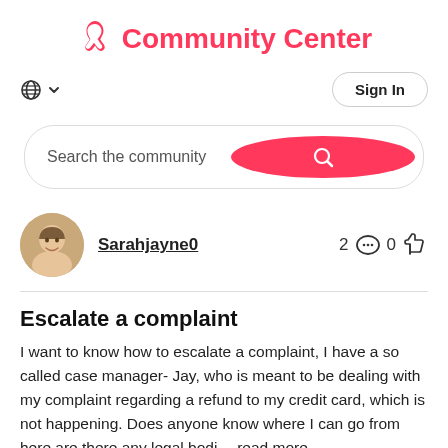Community Center
Sign In
Search the community
Sarahjayne0  2  0
Escalate a complaint
I want to know how to escalate a complaint, I have a so called case manager- Jay, who is meant to be dealing with my complaint regarding a refund to my credit card, which is not happening. Does anyone know where I can go from here are there any legal bodi… read more
Created 23-10-2017 | Latest reply yesterday by Tisha-